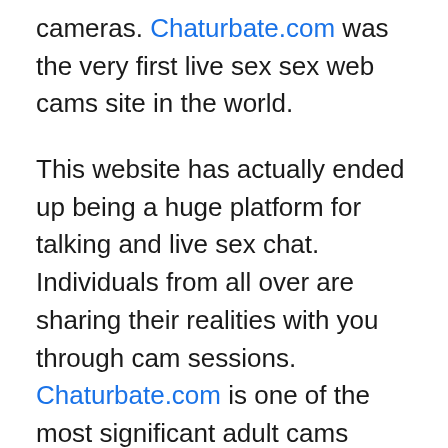cameras. Chaturbate.com was the very first live sex sex web cams site in the world.
This website has actually ended up being a huge platform for talking and live sex chat. Individuals from all over are sharing their realities with you through cam sessions. Chaturbate.com is one of the most significant adult cams platforms.
Chaturbate.com is readily available for all type of individuals who enjoy live sex chat. It is the best platform for chatting and